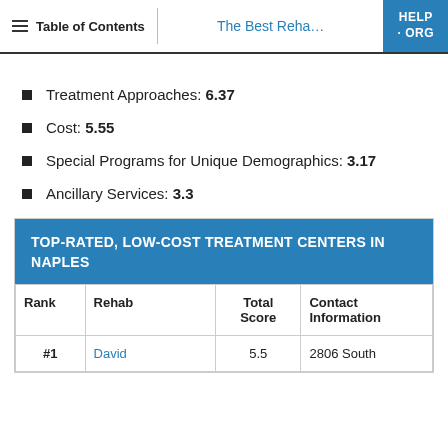Table of Contents | The Best Reha... | HELP·ORG
Treatment Approaches: 6.37
Cost: 5.55
Special Programs for Unique Demographics: 3.17
Ancillary Services: 3.3
| Rank | Rehab | Total Score | Contact Information |
| --- | --- | --- | --- |
| #1 | David | 5.5 | 2806 South |